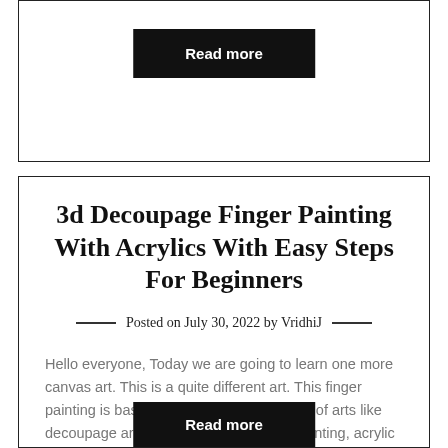[Figure (other): Black 'Read more' button inside a bordered card at the top of the page]
3d Decoupage Finger Painting With Acrylics With Easy Steps For Beginners
Posted on July 30, 2022 by VridhiJ
Hello everyone, Today we are going to learn one more canvas art. This is a quite different art. This finger painting is basically a combination of a lot of arts like decoupage art, finger painting, canvas painting, acrylic painting, and we also learn many techniques in this painting like decoupage technique, dabbing technique and a…
[Figure (other): Black 'Read more' button partially visible at the bottom of the page]